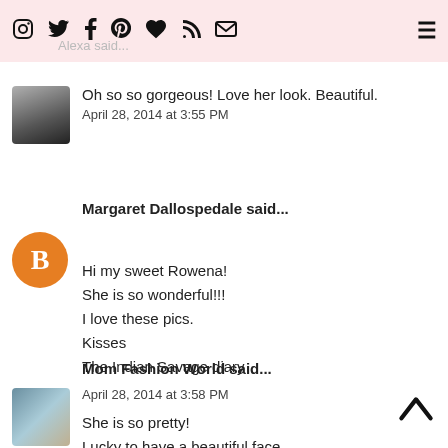Social media icons and menu header bar with Alexa said...
Oh so so gorgeous! Love her look. Beautiful.
April 28, 2014 at 3:55 PM
Margaret Dallospedale said...
Hi my sweet Rowena!
She is so wonderful!!!
I love these pics.
Kisses
The Indian Savage diary
April 28, 2014 at 3:58 PM
Mom Fashion World said...
She is so pretty!
Lucky to have a beautiful face.
http://www.momfashionworld.com/